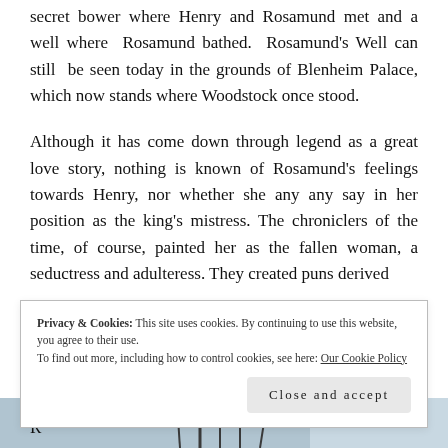secret bower where Henry and Rosamund met and a well where Rosamund bathed. Rosamund's Well can still be seen today in the grounds of Blenheim Palace, which now stands where Woodstock once stood.
Although it has come down through legend as a great love story, nothing is known of Rosamund's feelings towards Henry, nor whether she any any say in her position as the king's mistress. The chroniclers of the time, of course, painted her as the fallen woman, a seductress and adulteress. They created puns derived
Privacy & Cookies: This site uses cookies. By continuing to use this website, you agree to their use.
To find out more, including how to control cookies, see here: Our Cookie Policy
Close and accept
[Figure (photo): Partial view of a winter tree photograph at bottom of page]